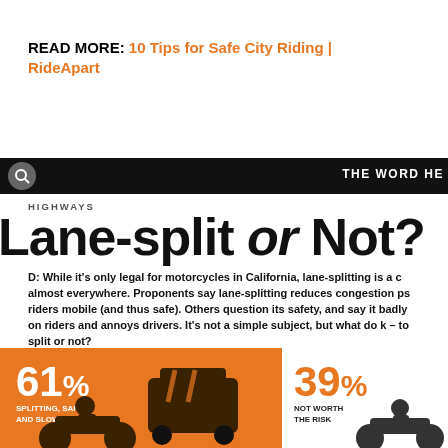READ MORE:  10 Tips for Safe City Riding | RideApart
THE WORD HE
HIGHWAYS
Lane-split or Not?
While it's only legal for motorcycles in California, lane-splitting is a c almost everywhere. Proponents say lane-splitting reduces congestion ps riders mobile (and thus safe). Others question its safety, and say it badly on riders and annoys drivers. It’s not a simple subject, but what do k–to split or not?
[Figure (infographic): Infographic showing 61% SPLITTING, SAFELY AND SLOWLY (orange background with motorcycle and car silhouettes) and 39% NOT WORTH THE RISK (white background with motorcycle silhouette)]